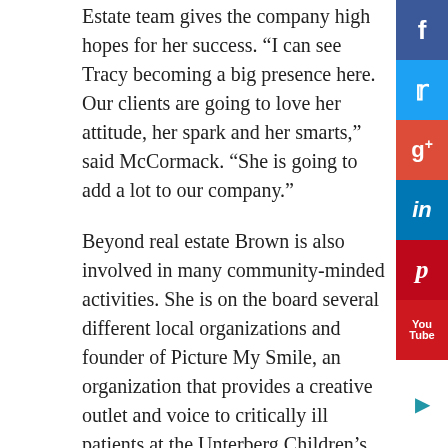Estate team gives the company high hopes for her success. “I can see Tracy becoming a big presence here. Our clients are going to love her attitude, her spark and her smarts,” said McCormack. “She is going to add a lot to our company.”
Beyond real estate Brown is also involved in many community-minded activities. She is on the board several different local organizations and founder of Picture My Smile, an organization that provides a creative outlet and voice to critically ill patients at the Unterberg Children’s Hospital. “Her heart for others and her warmth is part of what makes her a great fit for us,” said Diakon. “She really does put the wants and needs of others before herself and possesses a caring perspective that will help her be a fantastic agent.”
Resources Real Estate welcomes Brown to their team